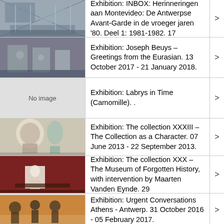Exhibition: INBOX: Herinneringen aan Montevideo: De Antwerpse Avant-Garde in de vroeger jaren '80. Deel 1: 1981-1982. 17
Exhibition: Joseph Beuys – Greetings from the Eurasian. 13 October 2017 - 21 January 2018.
Exhibition: Labrys in Time (Camomille). .
Exhibition: The collection XXXIII – The Collection as a Character. 07 June 2013 - 22 September 2013.
Exhibition: The collection XXX – The Museum of Forgotten History, with intervention by Maarten Vanden Eynde. 29
Exhibition: Urgent Conversations Athens - Antwerp. 31 October 2016 - 05 February 2017.